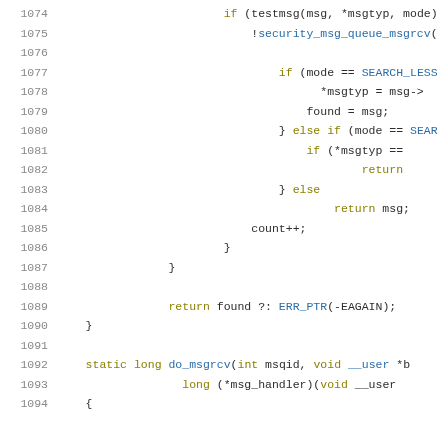[Figure (screenshot): Source code snippet showing lines 1074–1094 of a C kernel file, featuring conditional logic for message queue receive (msgrcv), with syntax highlighting: line numbers in grey, keywords in dark yellow, function names/identifiers in blue, and plain code in dark text.]